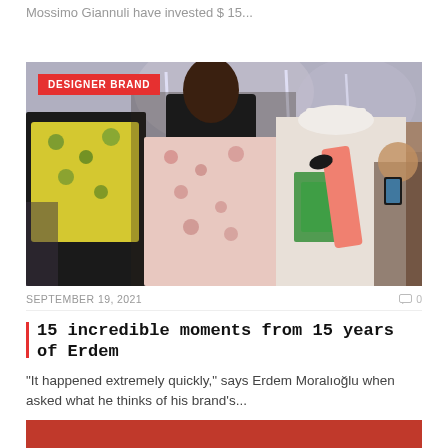Mossimo Giannuli have invested $ 15...
[Figure (photo): Fashion runway show photo showing models in floral and patterned dresses walking in an elegant venue with arched ceilings and neon light installations. A 'DESIGNER BRAND' badge is overlaid in the top left corner.]
SEPTEMBER 19, 2021   🗨 0
15 incredible moments from 15 years of Erdem
“It happened extremely quickly,” says Erdem Moralıoğlu when asked what he thinks of his brand’s...